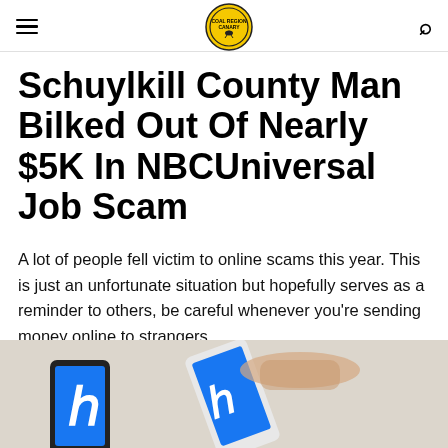Coal Region Canary — navigation header with logo
Schuylkill County Man Bilked Out Of Nearly $5K In NBCUniversal Job Scam
A lot of people fell victim to online scams this year. This is just an unfortunate situation but hopefully serves as a reminder to others, be careful whenever you're sending money online to strangers.
[Figure (photo): A person holding two smartphones displaying a blue social media or financial app icon (resembling a stylized 'h' or Facebook-style logo) on the screens, photographed from above on a light wooden or fabric surface.]